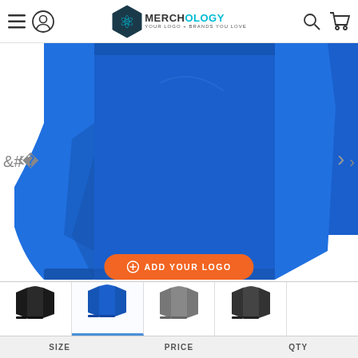Merchology - Your Logo + Brands You Love
[Figure (photo): Close-up product photo of a blue quarter-zip long sleeve athletic pullover shirt on a white background, showing the front torso and both sleeves]
⊕ ADD YOUR LOGO
[Figure (photo): Thumbnail of black quarter-zip pullover]
[Figure (photo): Thumbnail of blue quarter-zip pullover (currently selected)]
[Figure (photo): Thumbnail of grey quarter-zip pullover]
[Figure (photo): Thumbnail of dark grey/black quarter-zip pullover]
SIZE	PRICE	QTY